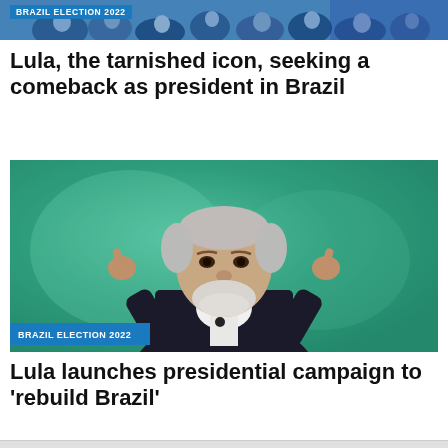[Figure (photo): Photo strip at top showing crowd/people at Brazil election event]
BRAZIL ELECTION 2022
Lula, the tarnished icon, seeking a comeback as president in Brazil
[Figure (photo): Photo of Lula (elderly man with grey hair and beard, in dark suit, pointing both index fingers upward) speaking at event with teal/green background. Badge reads BRAZIL ELECTION 2022]
BRAZIL ELECTION 2022
Lula launches presidential campaign to 'rebuild Brazil'